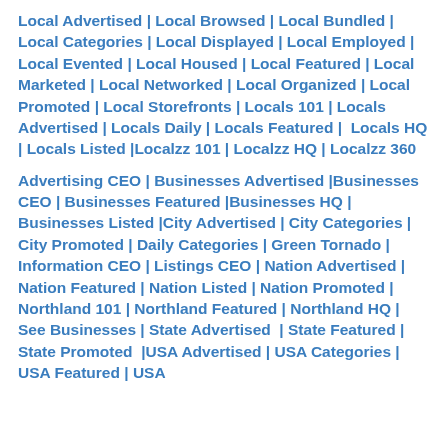Local Advertised | Local Browsed | Local Bundled | Local Categories | Local Displayed | Local Employed | Local Evented | Local Housed | Local Featured | Local Marketed | Local Networked | Local Organized | Local Promoted | Local Storefronts | Locals 101 | Locals Advertised | Locals Daily | Locals Featured | Locals HQ | Locals Listed |Localzz 101 | Localzz HQ | Localzz 360
Advertising CEO | Businesses Advertised |Businesses CEO | Businesses Featured |Businesses HQ | Businesses Listed |City Advertised | City Categories | City Promoted | Daily Categories | Green Tornado | Information CEO | Listings CEO | Nation Advertised | Nation Featured | Nation Listed | Nation Promoted | Northland 101 | Northland Featured | Northland HQ | See Businesses | State Advertised | State Featured | State Promoted |USA Advertised | USA Categories | USA Featured | USA